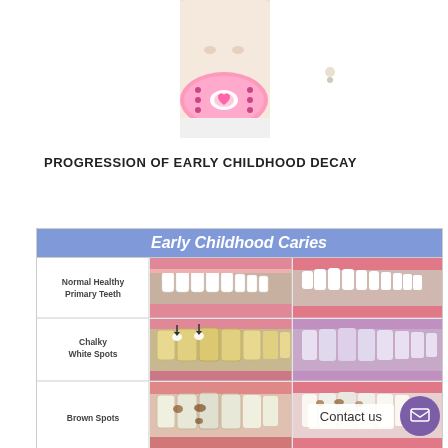[Figure (photo): Close-up photo of a baby's face with a pink pacifier/dummy in mouth]
PROGRESSION OF EARLY CHILDHOOD DECAY
[Figure (infographic): Early Childhood Caries infographic table showing three rows: Normal Healthy Primary Teeth, Chalky White Spots, and Brown Spots, each with two dental photos illustrating the condition]
Contact us